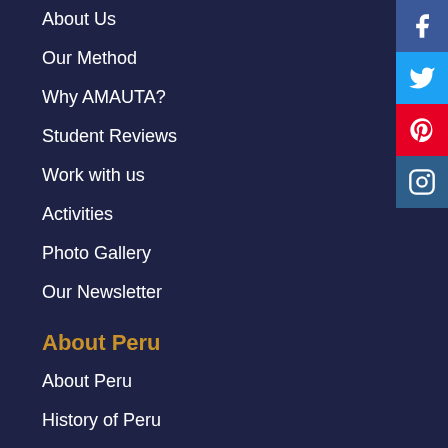About Us
Our Method
Why AMAUTA?
Student Reviews
Work with us
Activities
Photo Gallery
Our Newsletter
About Peru
About Peru
History of Peru
Peruvian Festivals
Economy & Politics
Society & Culture